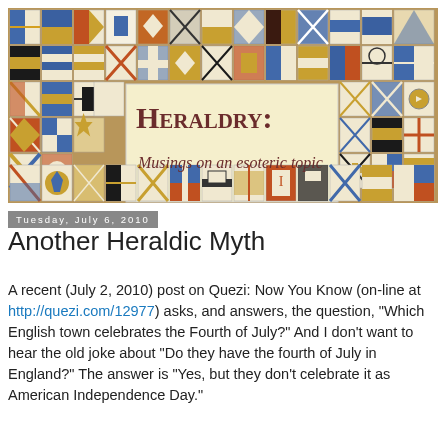[Figure (illustration): Heraldry blog banner header featuring a grid of colorful heraldic coat of arms shields surrounding a central cream-colored panel with the text 'Heraldry: Musings on an esoteric topic' in decorative blackletter and italic script fonts.]
Tuesday, July 6, 2010
Another Heraldic Myth
A recent (July 2, 2010) post on Quezi: Now You Know (on-line at http://quezi.com/12977) asks, and answers, the question, "Which English town celebrates the Fourth of July?"  And I don't want to hear the old joke about "Do they have the fourth of July in England?"  The answer is "Yes, but they don't celebrate it as American Independence Day."